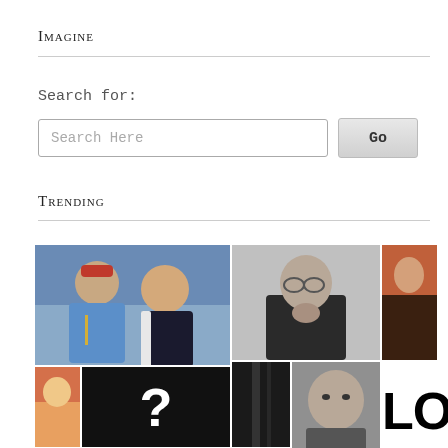Imagine
Search for:
[Figure (screenshot): Search input box with placeholder text 'Search Here' and a 'Go' button]
Trending
[Figure (photo): Collage of artist photos: group photo of two people, a black-and-white portrait, an orange/dark side photo, a dark vertical stripe, a face portrait, a small colorful photo, a black panel with white question mark, and bold text 'LOGGIN']